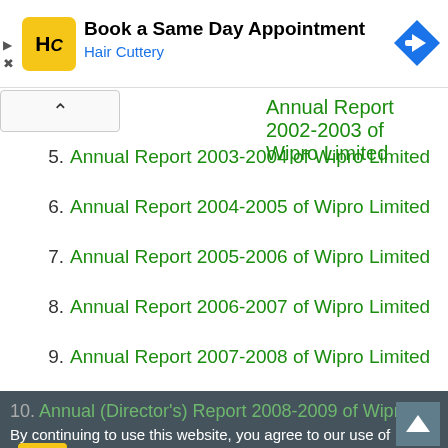[Figure (screenshot): Advertisement banner for Hair Cuttery - Book a Same Day Appointment]
4. Annual Report 2002-2003 of Wipro Limited
5. Annual Report 2003-2004 of Wipro Limited
6. Annual Report 2004-2005 of Wipro Limited
7. Annual Report 2005-2006 of Wipro Limited
8. Annual Report 2006-2007 of Wipro Limited
9. Annual Report 2007-2008 of Wipro Limited
10. Annual (Director's) Report 2008-2009 of Wipro Limited
11. Annual Report 2009-2010 of Wipro Limited
12. Annual Report 2010-2011 of Wipro Limited
13. Annual Report 2011-2012 of Wipro Limited
14. Annual Report 2012-2013 of Wipro Limited
By continuing to use this website, you agree to our use of Cookies